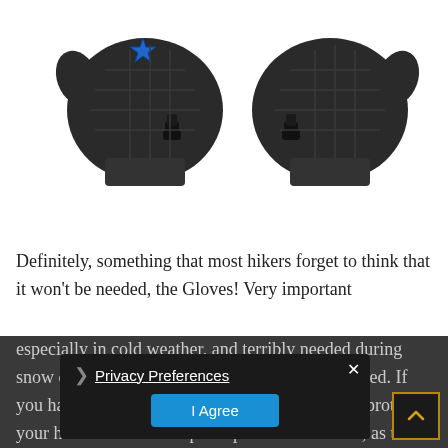[Figure (photo): Two dark charcoal/black hiking gloves laid flat showing top view, with a blue star logo on left glove and black plastic buckle clips on each glove wrist strap]
Definitely, something that most hikers forget to think that it won't be needed, the Gloves! Very important especially in cold weather, and terribly needed during snow or very cold temperatures with wind included. If you have skin problems, then you really need to protect your hands. Glo... waterproof prot... are the best, as the wind will be avoided and no blist...